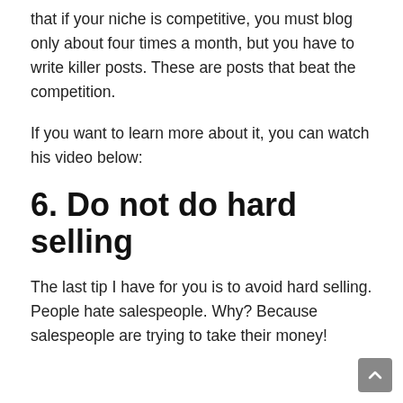that if your niche is competitive, you must blog only about four times a month, but you have to write killer posts. These are posts that beat the competition.
If you want to learn more about it, you can watch his video below:
6. Do not do hard selling
The last tip I have for you is to avoid hard selling. People hate salespeople. Why? Because salespeople are trying to take their money!